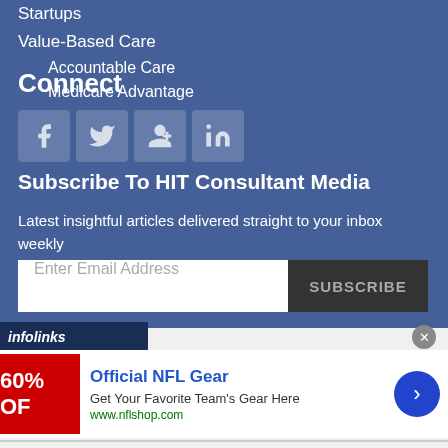Startups
Value-Based Care
Accountable Care
Medicare Advantage
Connect
[Figure (other): Social media icons: Facebook, Twitter, Google+, LinkedIn]
Subscribe To HIT Consultant Media
Latest insightful articles delivered straight to your inbox weekly
Enter Email Address | SUBSCRIBE
[Figure (other): infolinks advertisement bar]
[Figure (other): Official NFL Gear advertisement: Get Your Favorite Team's Gear Here, www.nflshop.com]